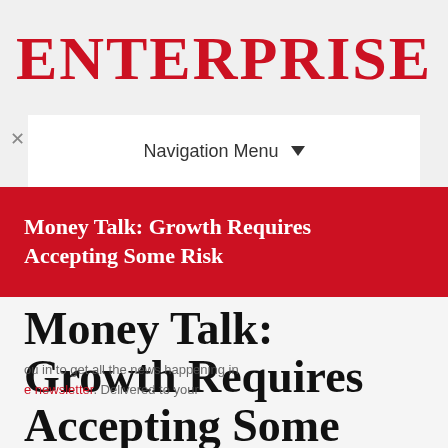ENTERPRISE
Navigation Menu
Money Talk: Growth Requires Accepting Some Risk
Money Talk: Growth Requires Accepting Some Risk